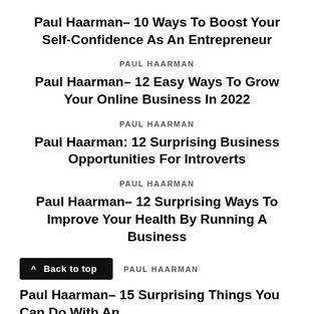Paul Haarman– 10 Ways To Boost Your Self-Confidence As An Entrepreneur
PAUL HAARMAN
Paul Haarman– 12 Easy Ways To Grow Your Online Business In 2022
PAUL HAARMAN
Paul Haarman: 12 Surprising Business Opportunities For Introverts
PAUL HAARMAN
Paul Haarman– 12 Surprising Ways To Improve Your Health By Running A Business
PAUL HAARMAN
Paul Haarman– 15 Surprising Things You Can Do With An